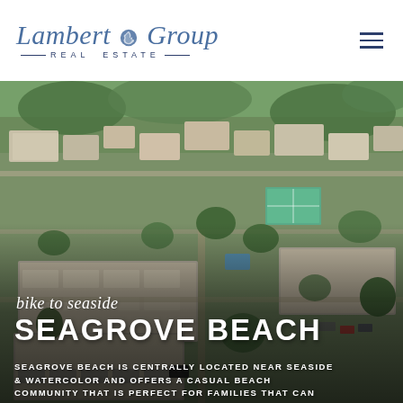[Figure (logo): Lambert Group Real Estate logo with script text and shell icon]
[Figure (photo): Aerial view of Seagrove Beach neighborhood showing residential buildings, trees, roads, and a tennis court]
bike to seaside
SEAGROVE BEACH
SEAGROVE BEACH IS CENTRALLY LOCATED NEAR SEASIDE & WATERCOLOR AND OFFERS A CASUAL BEACH COMMUNITY THAT IS PERFECT FOR FAMILIES THAT CAN